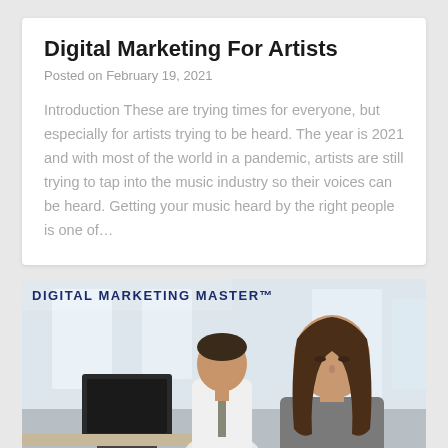Digital Marketing For Artists
Posted on February 19, 2021
Introduction These are trying times for everyone, but especially for artists trying to be heard. The year is 2021 and with most of the world in a pandemic, artists are still trying to tap into the music industry so their voices can be heard. Getting your music heard by the right people is one of…
[Figure (photo): Office scene with two people working at computers. A man in a white shirt and tie sits in the background at a desktop computer. A woman with long brown hair in a gray sleeveless top is in the foreground. Text overlay reads 'DIGITAL MARKETING MASTER™' in dark navy bold letters in the upper left corner.]